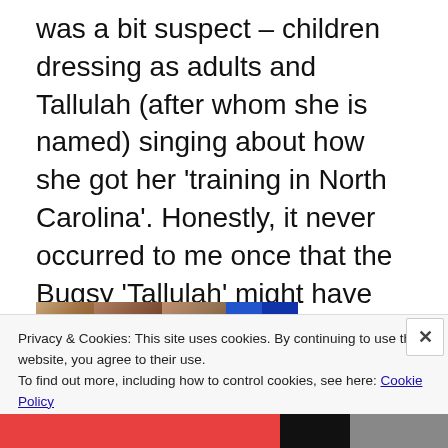was a bit suspect – children dressing as adults and Tallulah (after whom she is named) singing about how she got her 'training in North Carolina'. Honestly, it never occurred to me once that the Bugsy 'Tallulah' might have been singing about prostitution.  All I remember is the excitement of being in the theatre.
[Figure (photo): Partial image strip showing several thumbnail photos and colored blocks (blue)]
Privacy & Cookies: This site uses cookies. By continuing to use this website, you agree to their use.
To find out more, including how to control cookies, see here: Cookie Policy
Close and accept